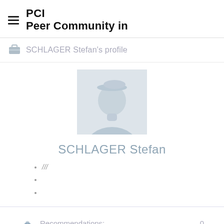PCI Peer Community in
SCHLAGER Stefan's profile
[Figure (illustration): Default grey silhouette avatar placeholder for user profile]
SCHLAGER Stefan
///
Recommendations: 0
Review: 1